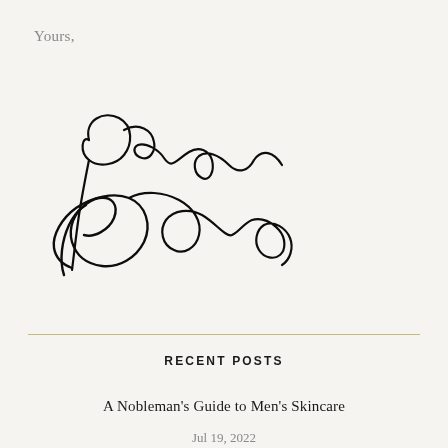Yours,
[Figure (illustration): Handwritten cursive signature reading 'Percy Nobleman']
RECENT POSTS
A Nobleman's Guide to Men's Skincare